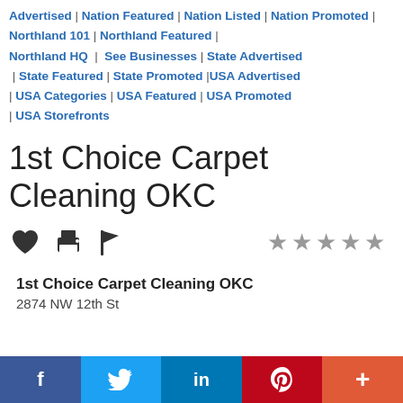Advertised | Nation Featured | Nation Listed | Nation Promoted | Northland 101 | Northland Featured | Northland HQ | See Businesses | State Advertised | State Featured | State Promoted | USA Advertised | USA Categories | USA Featured | USA Promoted | USA Storefronts
1st Choice Carpet Cleaning OKC
★★★★★ (5 stars, grey)
1st Choice Carpet Cleaning OKC
2874 NW 12th St
f | Twitter | in | Pinterest | +